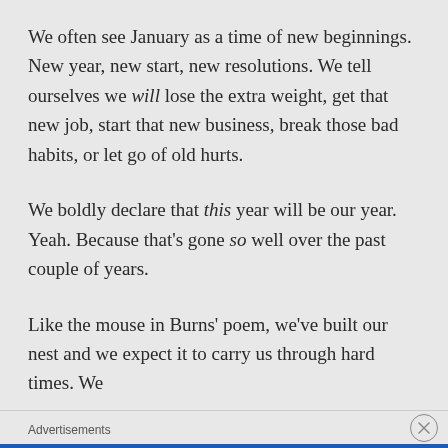We often see January as a time of new beginnings. New year, new start, new resolutions. We tell ourselves we will lose the extra weight, get that new job, start that new business, break those bad habits, or let go of old hurts.
We boldly declare that this year will be our year. Yeah. Because that's gone so well over the past couple of years.
Like the mouse in Burns' poem, we've built our nest and we expect it to carry us through hard times. We
Advertisements